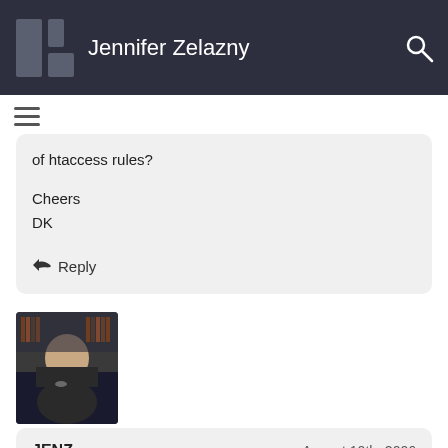Jennifer Zelazny
of htaccess rules?

Cheers
DK
Reply
[Figure (photo): Profile photo of a person]
JENZ   August 10th, 2006
Good question. I was hoping there would be a MW extension to take care of view